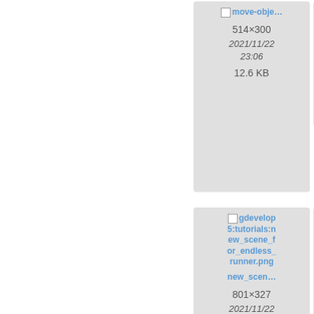[Figure (screenshot): File card for move-obje... image, 514x300, 2021/11/22 23:06, 12.6 KB]
[Figure (screenshot): Partially visible file card on right edge, 488..., 2021/..., 23, 12.7...]
[Figure (screenshot): File card for new_scen... (new_scene_for_endless_runner.png), 801x327, 2021/11/22 23:06, 34.3 KB]
[Figure (screenshot): Partially visible file card on right edge for object...cond...param..., 336..., 2021/..., 23, 9.7...]
[Figure (screenshot): Partially visible file card for gdevelop5:tutorials:object_types.jpg]
[Figure (screenshot): Partially visible file card on right edge for gd...5:tut...bje...co...]